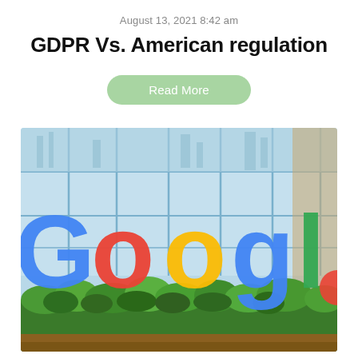August 13, 2021 8:42 am
GDPR Vs. American regulation
Read More
[Figure (photo): Google logo sign with colorful letters (blue G, red o, yellow o, blue g, green l, red e) displayed in an indoor office space with large floor-to-ceiling windows showing a city skyline and green foliage at the base.]